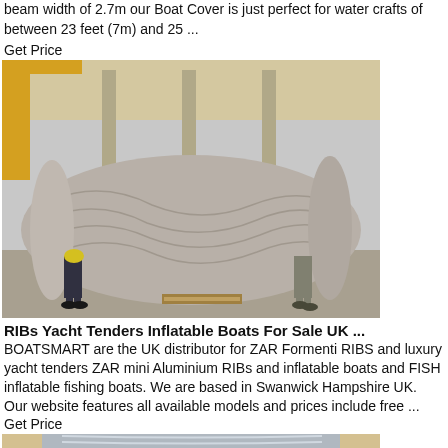beam width of 2.7m our Boat Cover is just perfect for water crafts of between 23 feet (7m) and 25 ...
Get Price
[Figure (photo): Large cylindrical object wrapped in silver/grey plastic shrink wrap, standing upright in an industrial warehouse. Two workers in dark clothing stand beside it on a concrete floor. Yellow crane structure visible in background.]
RIBs Yacht Tenders Inflatable Boats For Sale UK ...
BOATSMART are the UK distributor for ZAR Formenti RIBS and luxury yacht tenders ZAR mini Aluminium RIBs and inflatable boats and FISH inflatable fishing boats. We are based in Swanwick Hampshire UK. Our website features all available models and prices include free ...
Get Price
[Figure (photo): Close-up of a metallic silver/aluminium surface with smooth reflective finish, partially cropped, with beige/tan borders on the sides.]